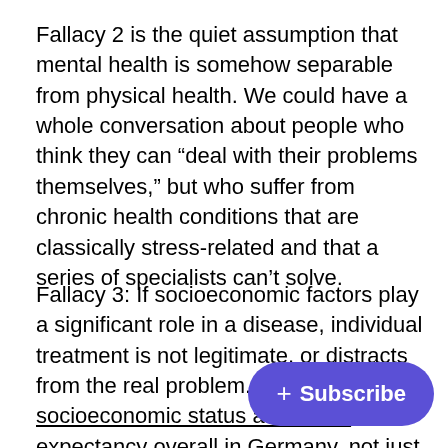Fallacy 2 is the quiet assumption that mental health is somehow separable from physical health. We could have a whole conversation about people who think they can “deal with their problems themselves,” but who suffer from chronic health conditions that are classically stress-related and that a series of specialists can’t solve.
Fallacy 3: If socioeconomic factors play a significant role in a disease, individual treatment is not legitimate, or distracts from the real problem. But socioeconomic status affects life expectancy overall in Germany, not just mental health. Women with low levels of education have higher levels of coronary heart [disease than] women with more education, for exa[mple. That doesn’t] mean a woman suffering heart failure shouldn’t be